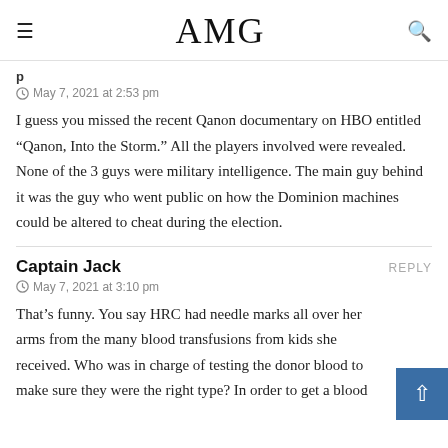AMG
May 7, 2021 at 2:53 pm
I guess you missed the recent Qanon documentary on HBO entitled “Qanon, Into the Storm.” All the players involved were revealed. None of the 3 guys were military intelligence. The main guy behind it was the guy who went public on how the Dominion machines could be altered to cheat during the election.
Captain Jack
REPLY
May 7, 2021 at 3:10 pm
That’s funny. You say HRC had needle marks all over her arms from the many blood transfusions from kids she received. Who was in charge of testing the donor blood to make sure they were the right type? In order to get a blood